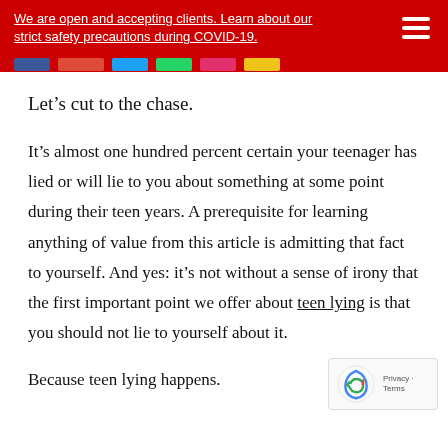We are open and accepting clients. Learn about our strict safety precautions during COVID-19.
Let’s cut to the chase.
It’s almost one hundred percent certain your teenager has lied or will lie to you about something at some point during their teen years. A prerequisite for learning anything of value from this article is admitting that fact to yourself. And yes: it’s not without a sense of irony that the first important point we offer about teen lying is that you should not lie to yourself about it.
Because teen lying happens.